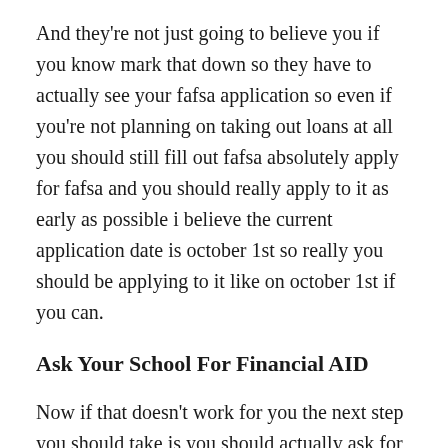And they're not just going to believe you if you know mark that down so they have to actually see your fafsa application so even if you're not planning on taking out loans at all you should still fill out fafsa absolutely apply for fafsa and you should really apply to it as early as possible i believe the current application date is october 1st so really you should be applying to it like on october 1st if you can.
Ask Your School For Financial AID
Now if that doesn't work for you the next step you should take is you should actually ask for more financial aid from the college itself and the reason for that is because there might be special programs that the college has where they offer either scholarships grants